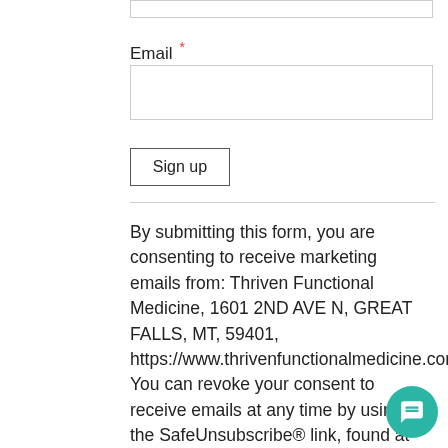Email *
Sign up
By submitting this form, you are consenting to receive marketing emails from: Thriven Functional Medicine, 1601 2ND AVE N, GREAT FALLS, MT, 59401, https://www.thrivenfunctionalmedicine.com. You can revoke your consent to receive emails at any time by using the SafeUnsubscribe® link, found at the